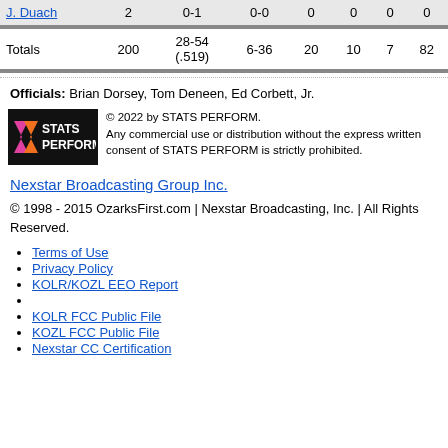|  |  |  |  |  |  |  |  |
| --- | --- | --- | --- | --- | --- | --- | --- |
| J. Duach | 2 | 0-1 | 0-0 | 0 | 0 | 0 | 0 |
| Totals | 200 | 28-54 (.519) | 6-36 | 20 | 10 | 7 | 82 |
Officials: Brian Dorsey, Tom Deneen, Ed Corbett, Jr.
[Figure (logo): STATS PERFORM logo with pink/orange chevron stripes on black background]
© 2022 by STATS PERFORM. Any commercial use or distribution without the express written consent of STATS PERFORM is strictly prohibited.
Nexstar Broadcasting Group Inc.
© 1998 - 2015 OzarksFirst.com | Nexstar Broadcasting, Inc. | All Rights Reserved.
Terms of Use
Privacy Policy
KOLR/KOZL EEO Report
KOLR FCC Public File
KOZL FCC Public File
Nexstar CC Certification